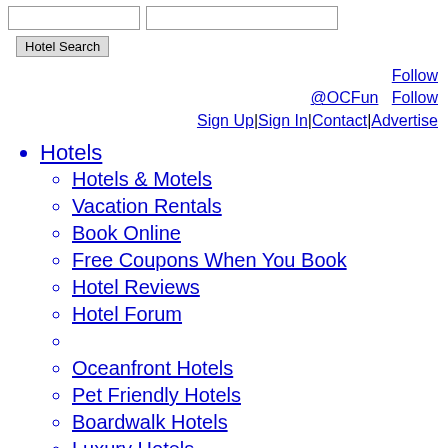[search input fields] Hotel Search button
Follow @OCFun  Follow  Sign Up|Sign In|Contact|Advertise
Hotels
Hotels & Motels
Vacation Rentals
Book Online
Free Coupons When You Book
Hotel Reviews
Hotel Forum
Oceanfront Hotels
Pet Friendly Hotels
Boardwalk Hotels
Luxury Hotels
Grand Hotel & Spa
Clarion Resort
Commander Hotel
Dunes Manor
The Hotels At Fager's Island